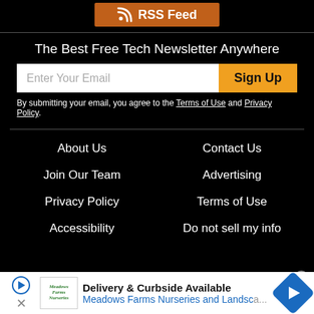[Figure (other): RSS Feed button with orange background and RSS icon]
The Best Free Tech Newsletter Anywhere
[Figure (other): Email signup form with text input 'Enter Your Email' and orange 'Sign Up' button]
By submitting your email, you agree to the Terms of Use and Privacy Policy.
About Us
Contact Us
Join Our Team
Advertising
Privacy Policy
Terms of Use
Accessibility
Do not sell my info
[Figure (other): Advertisement banner for Meadows Farms Nurseries and Landscape - Delivery & Curbside Available]